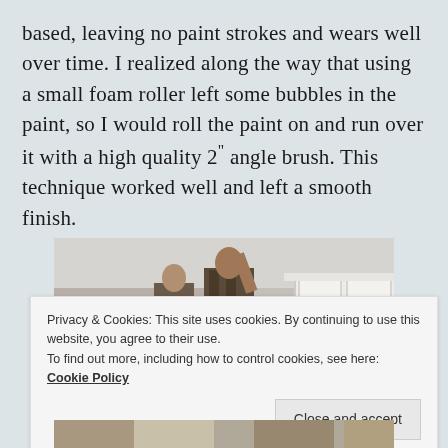based, leaving no paint strokes and wears well over time. I realized along the way that using a small foam roller left some bubbles in the paint, so I would roll the paint on and run over it with a high quality 2″ angle brush. This technique worked well and left a smooth finish.
[Figure (photo): A person working on a ceiling installation or painting in a room, with white cabinets/doors visible on the right side and colorful panels on the left. The photo is partially obscured by a cookie consent overlay.]
Privacy & Cookies: This site uses cookies. By continuing to use this website, you agree to their use.
To find out more, including how to control cookies, see here: Cookie Policy
Close and accept